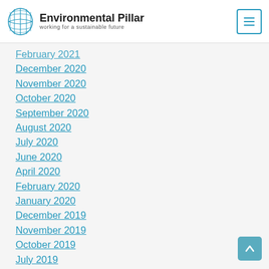Environmental Pillar — working for a sustainable future
February 2021
December 2020
November 2020
October 2020
September 2020
August 2020
July 2020
June 2020
April 2020
February 2020
January 2020
December 2019
November 2019
October 2019
July 2019
June 2019